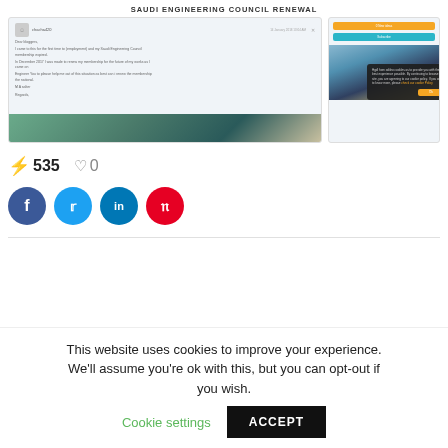SAUDI ENGINEERING COUNCIL RENEWAL
[Figure (screenshot): Two screenshots: left shows a forum post about Saudi Engineering Council membership renewal, right shows a website with cookie consent popup]
535  0
[Figure (infographic): Social sharing buttons: Facebook, Twitter, LinkedIn, Pinterest]
This website uses cookies to improve your experience. We'll assume you're ok with this, but you can opt-out if you wish.
Cookie settings  ACCEPT